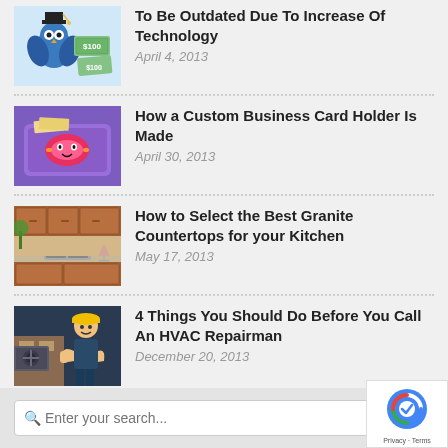[Figure (photo): Cartoon owl with money bills, blue bird illustration]
To Be Outdated Due To Increase Of Technology
April 4, 2013
[Figure (photo): Purple custom business card holder with decorative design]
How a Custom Business Card Holder Is Made
April 30, 2013
[Figure (photo): Kitchen with granite countertops and wooden cabinets]
How to Select the Best Granite Countertops for your Kitchen
May 17, 2013
[Figure (photo): HVAC repairman in yellow hard hat giving thumbs up]
4 Things You Should Do Before You Call An HVAC Repairman
December 20, 2013
Enter your search...